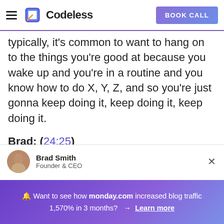Codeless | BOOK CALL
typically, it's common to want to hang on to the things you're good at because you wake up and you're in a routine and you know how to do X, Y, Z, and so you're just gonna keep doing it, keep doing it, keep doing it.
Brad: (24:25)
But really, as soon as you can do it pretty
Brad Smith
Founder & CEO
🔔 Want to see how monday.com increased blog traffic 1,570% in 3 months? → Learn more